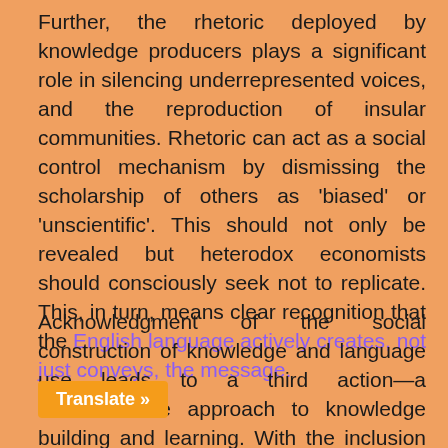Further, the rhetoric deployed by knowledge producers plays a significant role in silencing underrepresented voices, and the reproduction of insular communities. Rhetoric can act as a social control mechanism by dismissing the scholarship of others as 'biased' or 'unscientific'. This should not only be revealed but heterodox economists should consciously seek not to replicate. This, in turn, means clear recognition that the English language actively creates, not just conveys, the message.
Acknowledgment of the social construction of knowledge and language use leads to a third action—a transformative approach to knowledge building and learning. With the inclusion of new information and different perspectives, frank, open conversations can expose the realities of ..., discrimination, and power societal privilege (not necessarily